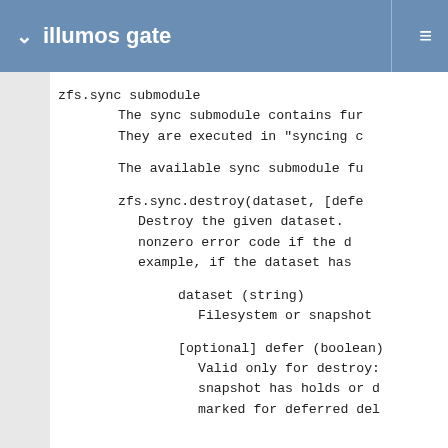illumos gate
zfs.sync submodule
    The sync submodule contains fu
    They are executed in "syncing c

    The available sync submodule fu

    zfs.sync.destroy(dataset, [defe
        Destroy the given dataset.
        nonzero error code if the d
        example, if the dataset has

        dataset (string)
            Filesystem or snapshot

        [optional] defer (boolean)
            Valid only for destroy:
            snapshot has holds or d
            marked for deferred del